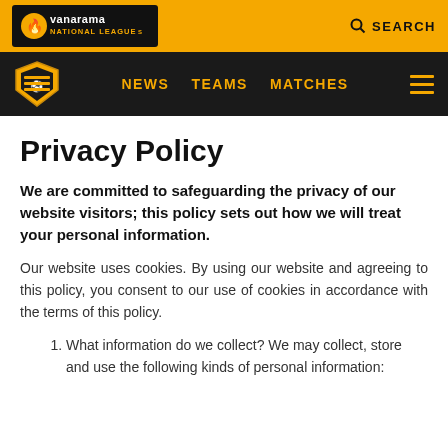Vanarama National League South | SEARCH
NEWS  TEAMS  MATCHES
Privacy Policy
We are committed to safeguarding the privacy of our website visitors; this policy sets out how we will treat your personal information.
Our website uses cookies. By using our website and agreeing to this policy, you consent to our use of cookies in accordance with the terms of this policy.
1. What information do we collect? We may collect, store and use the following kinds of personal information: